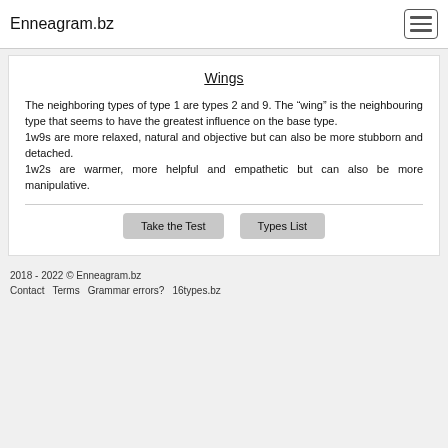Enneagram.bz
Wings
The neighboring types of type 1 are types 2 and 9. The “wing” is the neighbouring type that seems to have the greatest influence on the base type.
1w9s are more relaxed, natural and objective but can also be more stubborn and detached.
1w2s are warmer, more helpful and empathetic but can also be more manipulative.
Take the Test   Types List
2018 - 2022 © Enneagram.bz
Contact  Terms  Grammar errors?  16types.bz